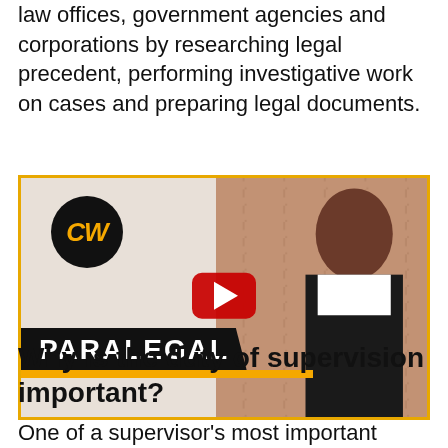law offices, government agencies and corporations by researching legal precedent, performing investigative work on cases and preparing legal documents.
[Figure (screenshot): Video thumbnail for a paralegal career video. Shows CW logo (black circle with gold CW text) in upper left, a YouTube-style red play button in the center, a 'PARALEGAL' banner in black and gold at the bottom left, and a professional woman in a business suit on the right side against a brick wall background.]
Why is the duty of supervision important?
One of a supervisor's most important